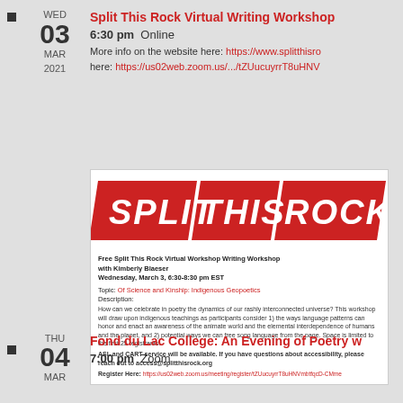WED 03 MAR 2021
Split This Rock Virtual Writing Workshop
6:30 pm  Online
More info on the website here: https://www.splitthisro
here: https://us02web.zoom.us/.../tZUucuyrrT8uHNV
[Figure (illustration): Split This Rock logo with red parallelogram blocks containing white italic text reading SPLIT THIS ROCK, followed by a flyer for a free virtual writing workshop with Kimberly Blaeser on Wednesday March 3, 6:30-8:30 pm EST. Topic: Of Science and Kinship: Indigenous Geopoetics. Includes description, accessibility note, and registration link.]
THU 04 MAR
Fond du Lac College: An Evening of Poetry w
7:00 pm  Zoom